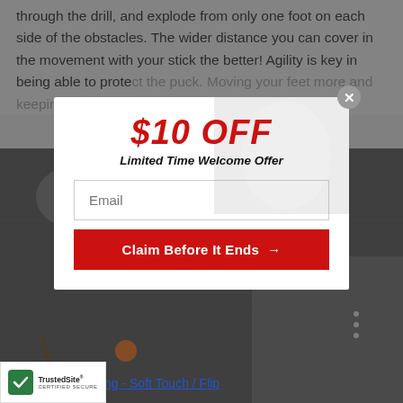through the drill, and explode from only one foot on each side of the obstacles. The wider distance you can cover in the movement with your stick the better! Agility is key in being able to protect the puck. Moving your feet more and keeping your feet mo…
[Figure (screenshot): A hockey training video thumbnail showing a player with a stick on a dark surface, partially obscured by a modal popup overlay]
[Figure (screenshot): Modal popup with $10 OFF Limited Time Welcome Offer, email input field, and Claim Before It Ends button]
Stick Handling - Soft Touch / Flip
[Figure (logo): TrustedSite Certified Secure badge with green checkmark]